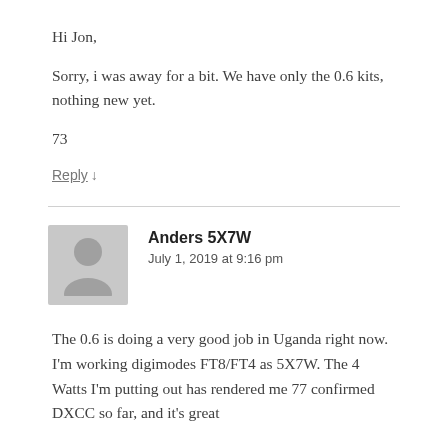Hi Jon,
Sorry, i was away for a bit. We have only the 0.6 kits, nothing new yet.
73
Reply ↓
Anders 5X7W
July 1, 2019 at 9:16 pm
The 0.6 is doing a very good job in Uganda right now. I'm working digimodes FT8/FT4 as 5X7W. The 4 Watts I'm putting out has rendered me 77 confirmed DXCC so far, and it's great